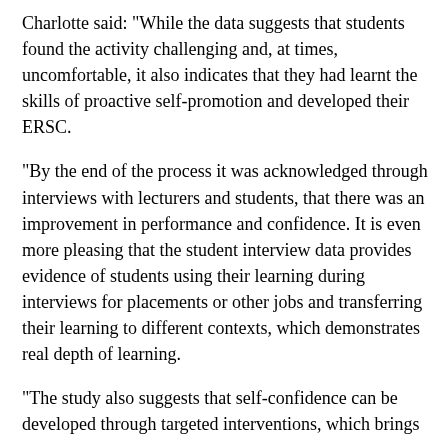Charlotte said: "While the data suggests that students found the activity challenging and, at times, uncomfortable, it also indicates that they had learnt the skills of proactive self-promotion and developed their ERSC.
"By the end of the process it was acknowledged through interviews with lecturers and students, that there was an improvement in performance and confidence. It is even more pleasing that the student interview data provides evidence of students using their learning during interviews for placements or other jobs and transferring their learning to different contexts, which demonstrates real depth of learning.
"The study also suggests that self-confidence can be developed through targeted interventions, which brings particular implications into our focus as we can target...